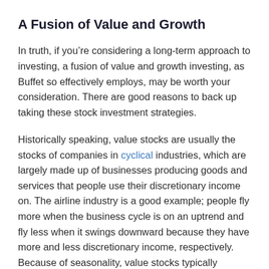A Fusion of Value and Growth
In truth, if you’re considering a long-term approach to investing, a fusion of value and growth investing, as Buffet so effectively employs, may be worth your consideration. There are good reasons to back up taking these stock investment strategies.
Historically speaking, value stocks are usually the stocks of companies in cyclical industries, which are largely made up of businesses producing goods and services that people use their discretionary income on. The airline industry is a good example; people fly more when the business cycle is on an uptrend and fly less when it swings downward because they have more and less discretionary income, respectively. Because of seasonality, value stocks typically perform well in the market during times of economic recovery and...